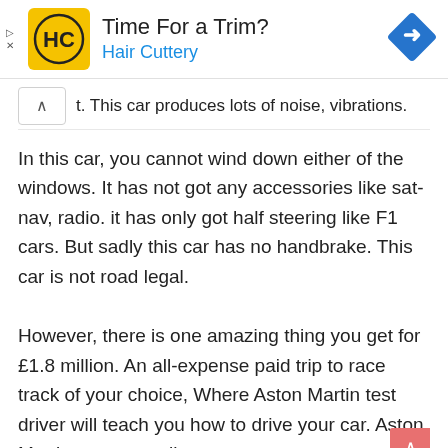[Figure (logo): Hair Cuttery advertisement banner with HC logo, 'Time For a Trim?' heading, 'Hair Cuttery' in blue, and a blue navigation arrow diamond icon on the right]
t. This car produces lots of noise, vibrations.
In this car, you cannot wind down either of the windows. It has not got any accessories like sat-nav, radio. it has only got half steering like F1 cars. But sadly this car has no handbrake. This car is not road legal.
However, there is one amazing thing you get for £1.8 million. An all-expense paid trip to race track of your choice, Where Aston Martin test driver will teach you how to drive your car. Aston Martin company allots you a personal engineer for 24/7 assistance.